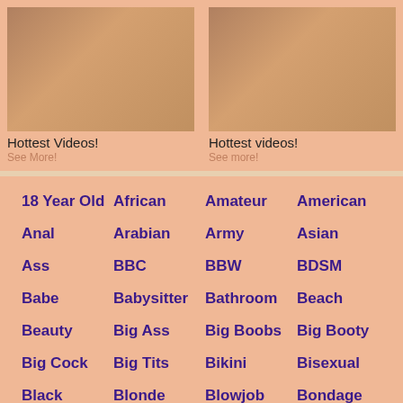[Figure (photo): Two promotional video thumbnail images side by side showing adult content previews]
Hottest Videos!
See More!
Hottest videos!
See more!
18 Year Old
African
Amateur
American
Anal
Arabian
Army
Asian
Ass
BBC
BBW
BDSM
Babe
Babysitter
Bathroom
Beach
Beauty
Big Ass
Big Boobs
Big Booty
Big Cock
Big Tits
Bikini
Bisexual
Black
Blonde
Blowjob
Bondage
Boobs
Brazilian
Bride
British